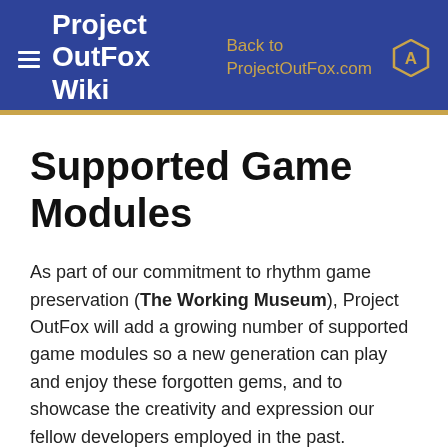Project OutFox Wiki — Back to ProjectOutFox.com
Supported Game Modules
As part of our commitment to rhythm game preservation (The Working Museum), Project OutFox will add a growing number of supported game modules so a new generation can play and enjoy these forgotten gems, and to showcase the creativity and expression our fellow developers employed in the past.
Project OutFox supports a variety of game modules (modes), which can simulate different types of